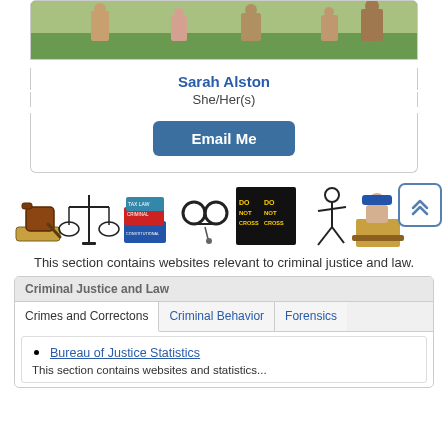[Figure (photo): Cropped photo of people standing on grass outdoors]
Sarah Alston
She/Her(s)
Email Me
[Figure (illustration): Row of criminal justice themed clipart icons: gavel, scales of justice, law books, handcuffs with keys, crime scene tape, chalk outline figure, judge at bench. Back-to-top button in upper right corner.]
This section contains websites relevant to criminal justice and law.
Criminal Justice and Law
Crimes and Correctons
Criminal Behavior
Forensics
Bureau of Justice Statistics
This section contains websites and statistics...